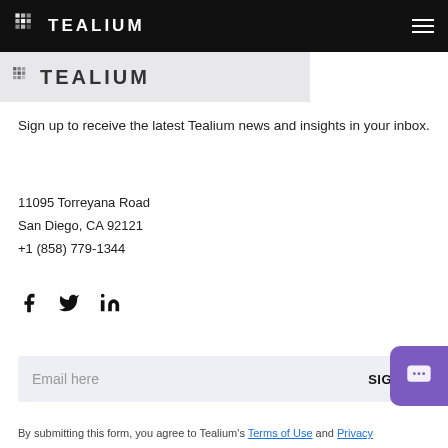Tealium navigation bar with logo and hamburger menu
[Figure (logo): Tealium logo (dark version) on light gray background row]
Sign up to receive the latest Tealium news and insights in your inbox.
11095 Torreyana Road
San Diego, CA 92121
+1 (858) 779-1344
[Figure (infographic): Social media icons: Facebook, Twitter, LinkedIn]
Email here  SIGN UP
By submitting this form, you agree to Tealium's Terms of Use and Privacy